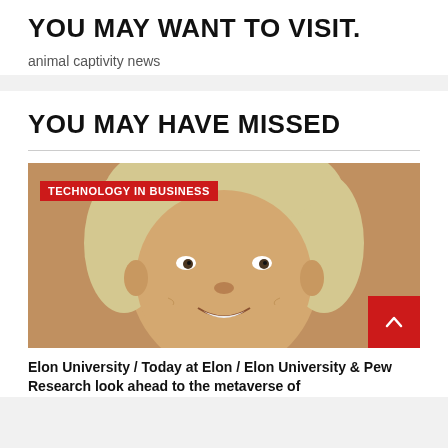YOU MAY WANT TO VISIT.
animal captivity news
YOU MAY HAVE MISSED
[Figure (photo): Close-up portrait of a smiling middle-aged woman with short blonde hair. A red badge reading 'TECHNOLOGY IN BUSINESS' is overlaid in the top-left corner. A red scroll-to-top button with a chevron/arrow is in the bottom-right corner.]
Elon University / Today at Elon / Elon University & Pew Research look ahead to the metaverse of